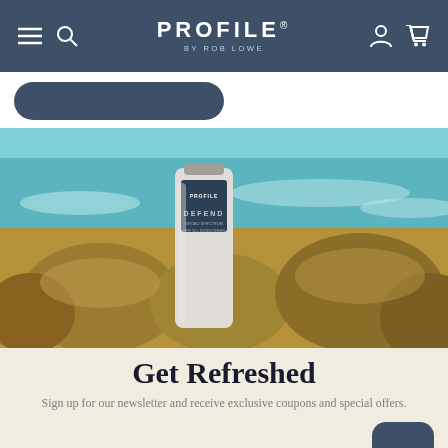PROFILE BY ROB LOWE — navigation bar with menu, search, account, and cart icons
[Figure (photo): A Profile by Rob Lowe DEFEND skincare product tube standing on rocks with ocean waves and blue sky in the background.]
Get Refreshed
Sign up for our newsletter and receive exclusive coupons and special offers.